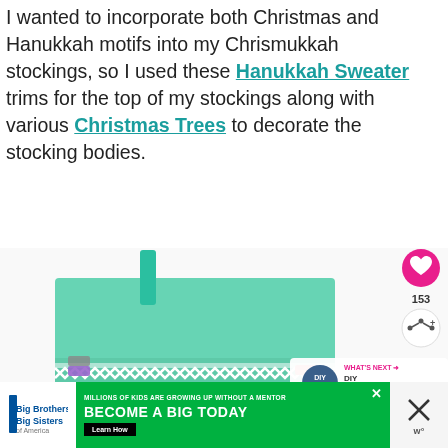I wanted to incorporate both Christmas and Hanukkah motifs into my Chrismukkah stockings, so I used these Hanukkah Sweater trims for the top of my stockings along with various Christmas Trees to decorate the stocking bodies.
[Figure (photo): A mint/teal colored fabric stocking with a white geometric chevron/diamond trim pattern near the top, a teal ribbon hanger, and small clips/embellishments. White background.]